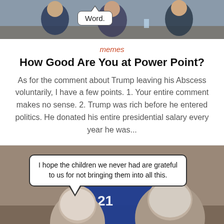[Figure (photo): Top portion of a photo showing people in business attire at a table, with a speech bubble saying 'Word.']
memes
How Good Are You at Power Point?
As for the comment about Trump leaving his Abscess voluntarily, I have a few points. 1. Your entire comment makes no sense. 2. Trump was rich before he entered politics. He donated his entire presidential salary every year he was...
[Figure (photo): Bottom portion showing the backs of two elderly people with gray hair watching TV, with a speech bubble: 'I hope the children we never had are grateful to us for not bringing them into all this.']
Facebook | Twitter | Pinterest | LinkedIn | WhatsApp | Messenger